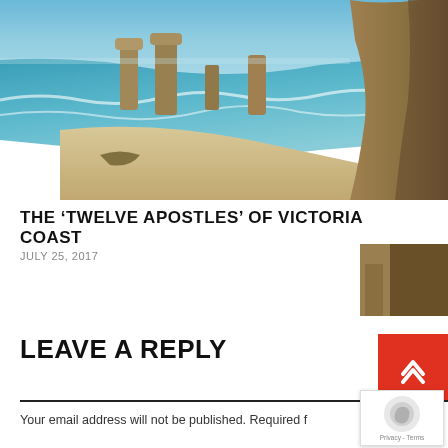[Figure (photo): Coastal landscape photo showing the Twelve Apostles rock formations along Victoria's Great Ocean Road, with turquoise ocean waves, sandy beach, and tall limestone stacks. Dramatic cliffs on the right side.]
THE ‘TWELVE APOSTLES’ OF VICTORIA COAST
JULY 25, 2017
LEAVE A REPLY
Your email address will not be published. Required f